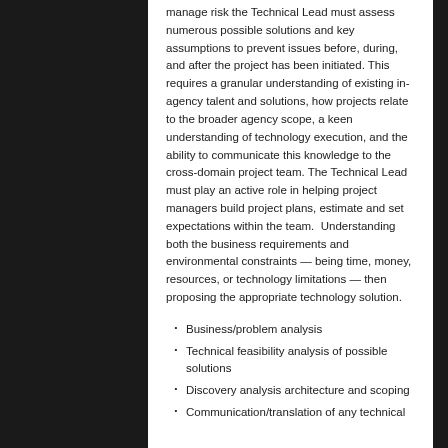manage risk the Technical Lead must assess numerous possible solutions and key assumptions to prevent issues before, during, and after the project has been initiated. This requires a granular understanding of existing in-agency talent and solutions, how projects relate to the broader agency scope, a keen understanding of technology execution, and the ability to communicate this knowledge to the cross-domain project team. The Technical Lead must play an active role in helping project managers build project plans, estimate and set expectations within the team. Understanding both the business requirements and environmental constraints — being time, money, resources, or technology limitations — then proposing the appropriate technology solution.
Business/problem analysis
Technical feasibility analysis of possible solutions
Discovery analysis architecture and scoping
Communication/translation of any technical